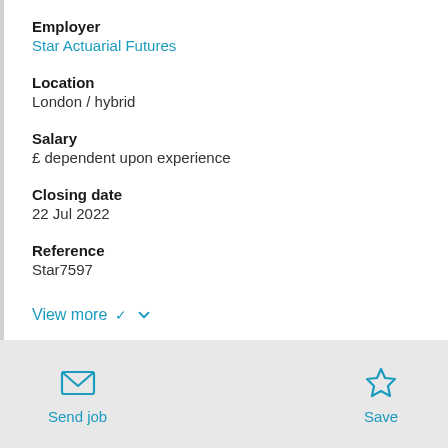Employer
Star Actuarial Futures
Location
London / hybrid
Salary
£ dependent upon experience
Closing date
22 Jul 2022
Reference
Star7597
View more
Send job
Save